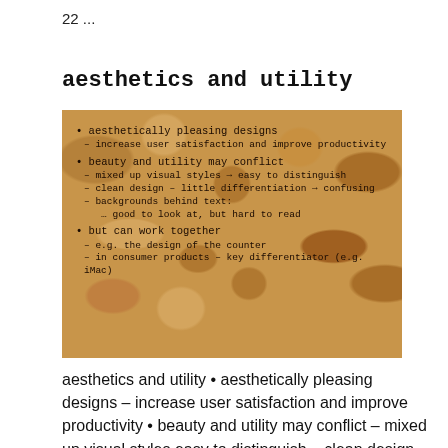22 ...
aesthetics and utility
[Figure (illustration): Slide content on a textured brown/golden crumpled paper background with bullet points about aesthetics and utility: aesthetically pleasing designs – increase user satisfaction and improve productivity; beauty and utility may conflict – mixed up visual styles → easy to distinguish – clean design – little differentiation → confusing – backgrounds behind text: … good to look at, but hard to read; but can work together – e.g. the design of the counter – in consumer products – key differentiator (e.g. iMac)]
aesthetics and utility • aesthetically pleasing designs – increase user satisfaction and improve productivity • beauty and utility may conflict – mixed up visual styles easy to distinguish – clean design – little differentiation confusing – backgrounds behind text … good to look at,